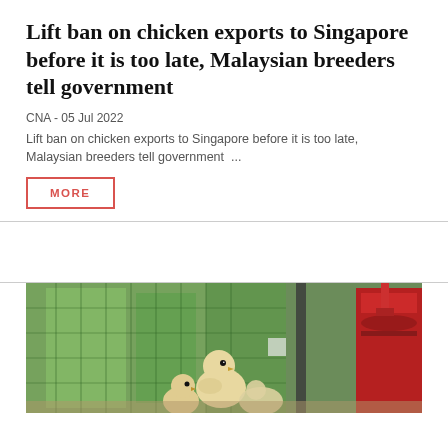Lift ban on chicken exports to Singapore before it is too late, Malaysian breeders tell government
CNA - 05 Jul 2022
Lift ban on chicken exports to Singapore before it is too late, Malaysian breeders tell government  ...
MORE
[Figure (photo): Photo of baby chicks inside a chicken farm with green mesh fencing and red feeders in the background]